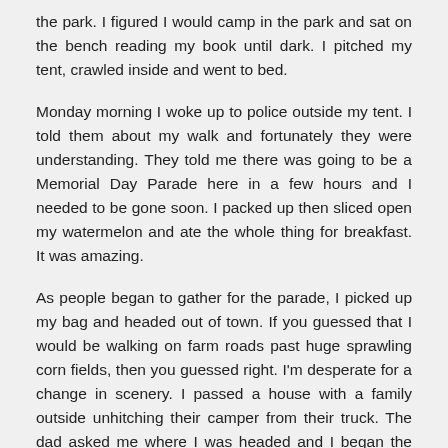the park. I figured I would camp in the park and sat on the bench reading my book until dark. I pitched my tent, crawled inside and went to bed.
Monday morning I woke up to police outside my tent. I told them about my walk and fortunately they were understanding. They told me there was going to be a Memorial Day Parade here in a few hours and I needed to be gone soon. I packed up then sliced open my watermelon and ate the whole thing for breakfast. It was amazing.
As people began to gather for the parade, I picked up my bag and headed out of town. If you guessed that I would be walking on farm roads past huge sprawling corn fields, then you guessed right. I'm desperate for a change in scenery. I passed a house with a family outside unhitching their camper from their truck. The dad asked me where I was headed and I began the story of my travels. He offered me a soda and pointed me in the direction of Kouts. I was headed there to camp. I told him I was probably going to camp at the library since there would be shelter from the evenings thunderstorms.